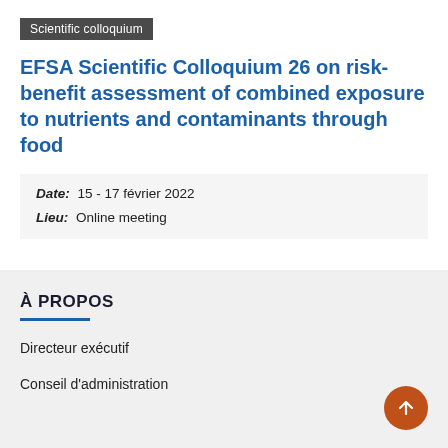Scientific colloquium
EFSA Scientific Colloquium 26 on risk-benefit assessment of combined exposure to nutrients and contaminants through food
| Date: | 15 - 17 février 2022 |
| Lieu: | Online meeting |
À PROPOS
Directeur exécutif
Conseil d'administration